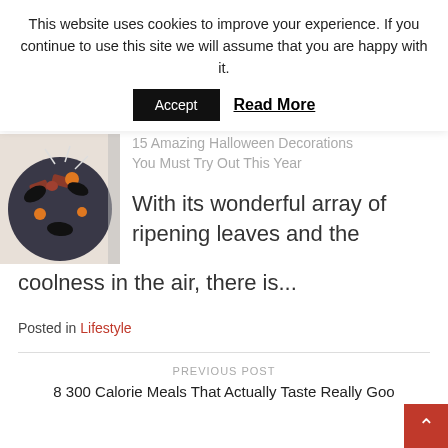This website uses cookies to improve your experience. If you continue to use this site we will assume that you are happy with it.
Accept  Read More
15 Amazing Halloween Decorations You Must Try Out This Year
[Figure (photo): A Halloween wreath decoration with dark leaves, orange berries, and a red/brown plaid ribbon bow]
With its wonderful array of ripening leaves and the coolness in the air, there is...
Posted in Lifestyle
PREVIOUS POST
8 300 Calorie Meals That Actually Taste Really Goo